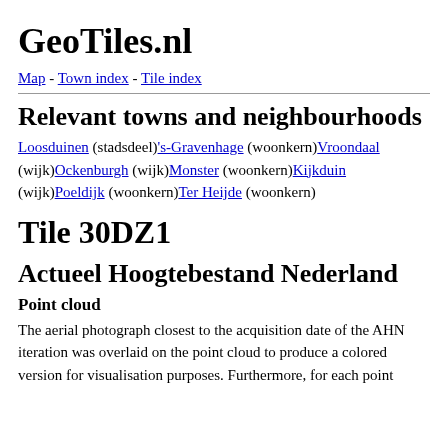GeoTiles.nl
Map - Town index - Tile index
Relevant towns and neighbourhoods
Loosduinen (stadsdeel)'s-Gravenhage (woonkern)Vroondaal (wijk)Ockenburgh (wijk)Monster (woonkern)Kijkduin (wijk)Poeldijk (woonkern)Ter Heijde (woonkern)
Tile 30DZ1
Actueel Hoogtebestand Nederland
Point cloud
The aerial photograph closest to the acquisition date of the AHN iteration was overlaid on the point cloud to produce a colored version for visualisation purposes. Furthermore, for each point